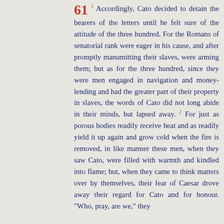61 1 Accordingly, Cato decided to detain the bearers of the letters until he felt sure of the attitude of the three hundred. For the Romans of senatorial rank were eager in his cause, and after promptly manumitting their slaves, were arming them; but as for the three hundred, since they were men engaged in navigation and money-lending and had the greater part of their property in slaves, the words of Cato did not long abide in their minds, but lapsed away. 2 For just as porous bodies readily receive heat and as readily yield it up again and grow cold when the fire is removed, in like manner these men, when they saw Cato, were filled with warmth and kindled into flame; but, when they came to think matters over by themselves, their fear of Caesar drove away their regard for Cato and for honour. "Who, pray, are we," they